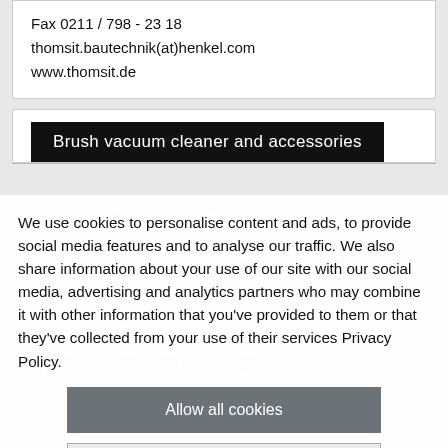Fax 0211 / 798 - 23 18
thomsit.bautechnik(at)henkel.com
www.thomsit.de
Brush vacuum cleaner and accessories
We use cookies to personalise content and ads, to provide social media features and to analyse our traffic. We also share information about your use of our site with our social media, advertising and analytics partners who may combine it with other information that you've provided to them or that they've collected from your use of their services Privacy Policy.
Allow all cookies
Manage settings